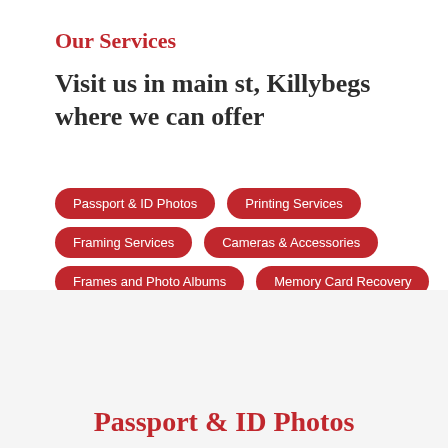Our Services
Visit us in main st, Killybegs where we can offer
Passport & ID Photos
Printing Services
Framing Services
Cameras & Accessories
Frames and Photo Albums
Memory Card Recovery
Download Fujifilm Imagine App
Activate Our Online Kiosk
Passport & ID Photos